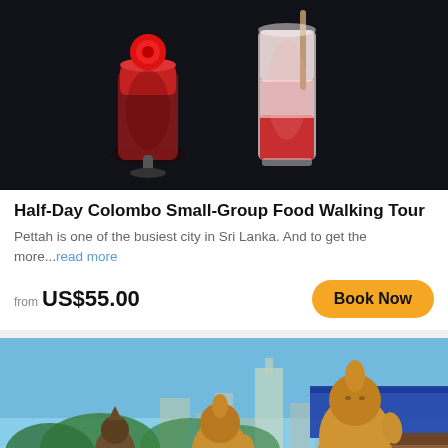[Figure (photo): Two drinks in glasses with red/strawberry layered drinks on a dark background — food and beverage photo for a Colombo food walking tour listing]
Half-Day Colombo Small-Group Food Walking Tour
Pettah is one of the busiest city in Sri Lanka. And to get the more...read more
from US$55.00
Book Now
[Figure (photo): Row of golden and bronze Buddha statues at a lakeside temple in Colombo, Sri Lanka, with a blue-roofed temple building and city skyline in the background under a bright blue sky]